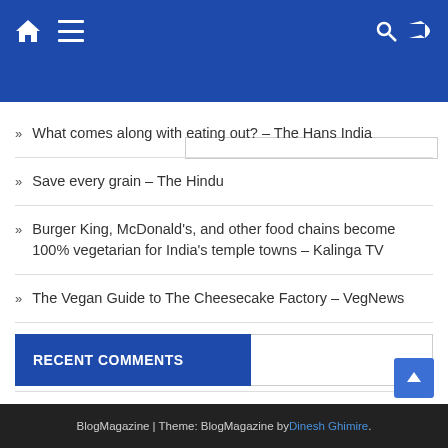Navigation bar with home, menu, search and shuffle icons
What comes along with eating out? – The Hans India
Save every grain – The Hindu
Burger King, McDonald's, and other food chains become 100% vegetarian for India's temple towns – Kalinga TV
The Vegan Guide to The Cheesecake Factory – VegNews
Is Honey Vegan? Everything You Need to Know About Why Bees Make Honey – VegNews
RECENT COMMENTS
BlogMagazine | Theme: BlogMagazine by Dinesh Ghimire.